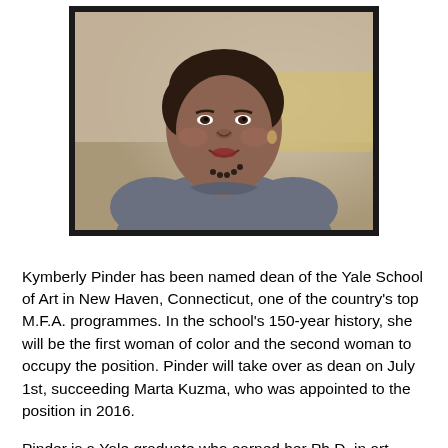[Figure (photo): Portrait photograph of Kymberly Pinder, a woman with short dark hair, wearing a grey sleeveless top and pearl necklace, smiling, set against a blurred beige background, displayed with a thick dark border frame.]
Kymberly Pinder has been named dean of the Yale School of Art in New Haven, Connecticut, one of the country's top M.F.A. programmes. In the school's 150-year history, she will be the first woman of color and the second woman to occupy the position. Pinder will take over as dean on July 1st, succeeding Marta Kuzma, who was appointed to the position in 2016.
Pinder is a Yale graduate who earned her Ph.D. in art history from the university in 1995. She was previously the provost and senior vice president of academic affairs at the